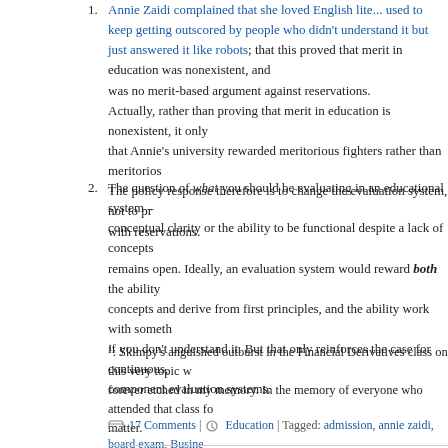A couple of years ago, Annie Zaidi complained that she loved English literature but used to keep getting outscored by people who didn't understand it but just answered it like robots; that this proved that merit in education was nonexistent, and so there was no merit-based argument against reservations. Actually, rather than proving that merit in education is nonexistent, it only proved that Annie's university rewarded meritorious fighters rather than meritorious understanders. The policy response therefore is to change the evaluation system, not to proceed with reservations.
The question of what you should be evaluating in an educational system – conceptual clarity or the ability to be functional despite a lack of conceptual remains open. Ideally, an evaluation system would reward both the ability to grasp concepts and derive from first principles, and the ability work with something even if you don't understand it. But that only reinforces the case for continuous, multi-component evaluation systems.
1: Skimpy's anguished outburst in the Financial Derivatives class on this very topic w... forever etched in my memory. In the memory of everyone who attended that class fo... matter.
17 Comments | Education | Tagged: admission, annie zaidi, board exam, Business Economics, conceptual, continuous evaluation, delhi university, derivation, evaluation, exa... examination system, fighter, first principle, skimpy, structural, stud, wimpy | Permalink Posted by Aadisht